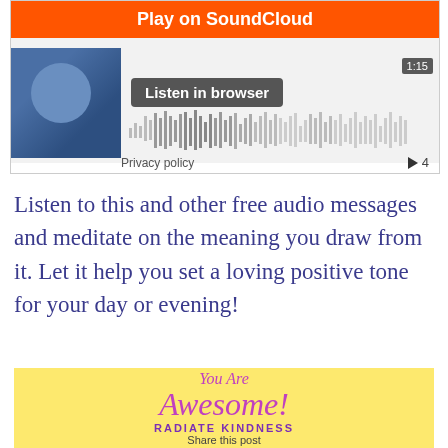[Figure (screenshot): SoundCloud embedded player widget showing 'Play on SoundCloud' orange button, 'Listen in browser' button, waveform visualization, time 1:15, play count 4, and Privacy policy link]
Listen to this and other free audio messages and meditate on the meaning you draw from it. Let it help you set a loving positive tone for your day or evening!
[Figure (illustration): Yellow background image with cursive purple text 'You Are Awesome!' and bold purple text 'RADIATE KINDNESS' and 'Share this post' below]